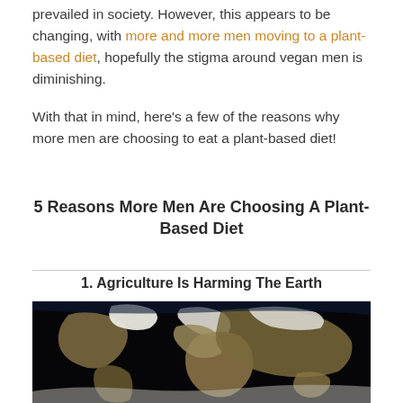prevailed in society. However, this appears to be changing, with more and more men moving to a plant-based diet, hopefully the stigma around vegan men is diminishing.
With that in mind, here's a few of the reasons why more men are choosing to eat a plant-based diet!
5 Reasons More Men Are Choosing A Plant-Based Diet
1. Agriculture Is Harming The Earth
[Figure (photo): A satellite/space view of Earth showing the continents against a black background, rendered in dark and earthy tones]